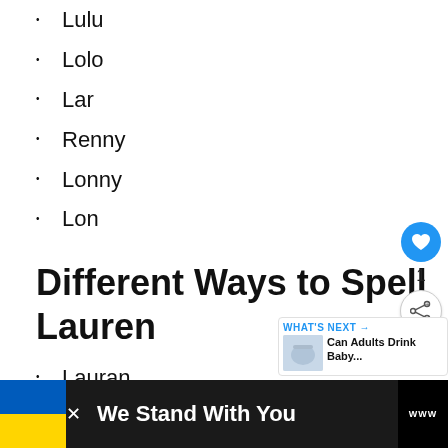Lulu
Lolo
Lar
Renny
Lonny
Lon
Different Ways to Spell Lauren
Lauran
Lauron
Lauryn
Loren
Laurin
WHAT'S NEXT → Can Adults Drink Baby...
We Stand With You